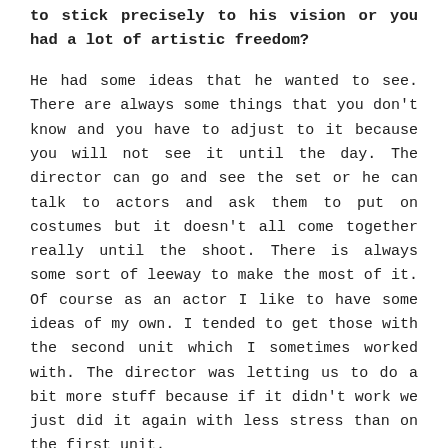to stick precisely to his vision or you had a lot of artistic freedom?
He had some ideas that he wanted to see. There are always some things that you don't know and you have to adjust to it because you will not see it until the day. The director can go and see the set or he can talk to actors and ask them to put on costumes but it doesn't all come together really until the shoot. There is always some sort of leeway to make the most of it. Of course as an actor I like to have some ideas of my own. I tended to get those with the second unit which I sometimes worked with. The director was letting us to do a bit more stuff because if it didn't work we just did it again with less stress than on the first unit.
Thank you for the meeting and for sharing with me your stories from the set of 'The Living Daylights!